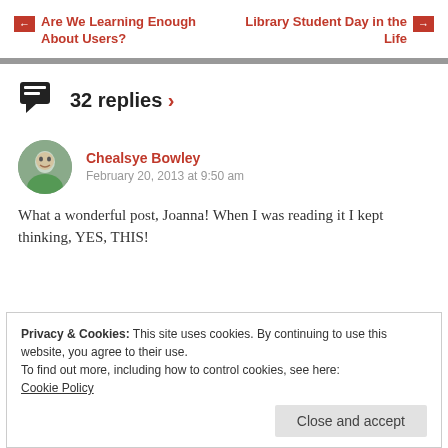← Are We Learning Enough About Users?    Library Student Day in the Life →
32 replies ›
Chealsye Bowley
February 20, 2013 at 9:50 am
What a wonderful post, Joanna! When I was reading it I kept thinking, YES, THIS!
Privacy & Cookies: This site uses cookies. By continuing to use this website, you agree to their use.
To find out more, including how to control cookies, see here:
Cookie Policy
Close and accept